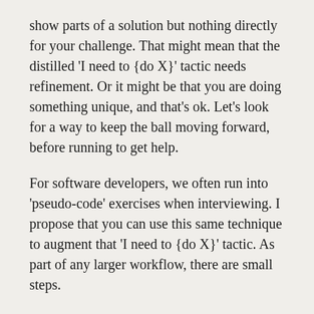show parts of a solution but nothing directly for your challenge. That might mean that the distilled 'I need to {do X}' tactic needs refinement. Or it might be that you are doing something unique, and that's ok. Let's look for a way to keep the ball moving forward, before running to get help.
For software developers, we often run into 'pseudo-code' exercises when interviewing. I propose that you can use this same technique to augment that 'I need to {do X}' tactic. As part of any larger workflow, there are small steps.
Consider how you’d compute the price of a Cart in an ECommerce application, for example.  You’ll need to complete the summary price, and the taxes due. To compute the summary price, you may need to do some